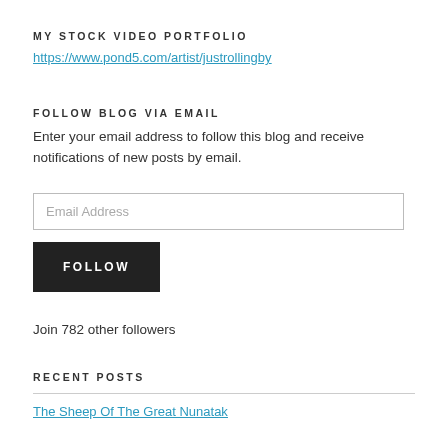MY STOCK VIDEO PORTFOLIO
https://www.pond5.com/artist/justrollingby
FOLLOW BLOG VIA EMAIL
Enter your email address to follow this blog and receive notifications of new posts by email.
[Figure (other): Email Address input field]
[Figure (other): FOLLOW button]
Join 782 other followers
RECENT POSTS
The Sheep Of The Great Nunatak